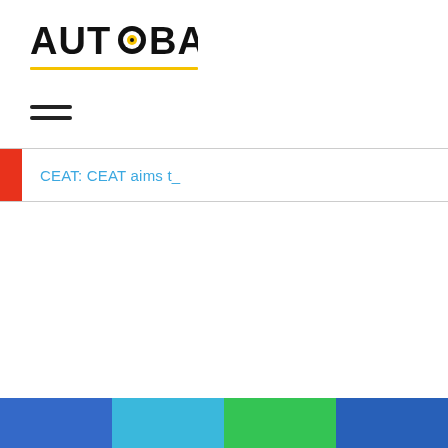[Figure (logo): AUTOBALA logo in bold black text with yellow underline and a circular target icon replacing the letter O]
[Figure (other): Hamburger menu icon with three horizontal black lines]
CEAT: CEAT aims t_
[Figure (other): Footer color bar with four colored blocks: blue, light blue, green, dark blue]